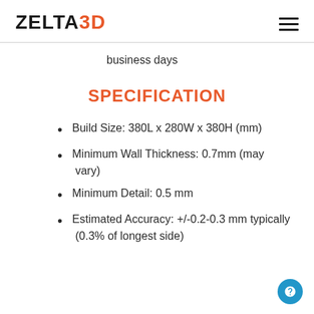ZELTA3D
business days
SPECIFICATION
Build Size: 380L x 280W x 380H (mm)
Minimum Wall Thickness: 0.7mm (may vary)
Minimum Detail: 0.5 mm
Estimated Accuracy: +/-0.2-0.3 mm typically (0.3% of longest side)